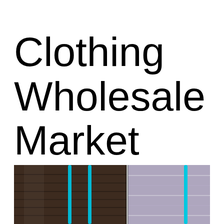Clothing Wholesale Market Place
[Figure (photo): Bundles of wholesale clothing bales wrapped in dark plastic and light fabric, secured with cyan/turquoise straps, stacked side by side]